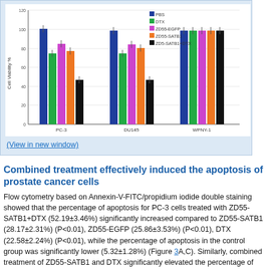[Figure (grouped-bar-chart): Cell Viability %]
(View in new window)
Combined treatment effectively induced the apoptosis of prostate cancer cells
Flow cytometry based on Annexin-V-FITC/propidium iodide double staining showed that the percentage of apoptosis for PC-3 cells treated with ZD55-SATB1+DTX (52.19±3.46%) significantly increased compared to ZD55-SATB1 (28.17±2.31%) (P<0.01), ZD55-EGFP (25.86±3.53%) (P<0.01), DTX (22.58±2.24%) (P<0.01), while the percentage of apoptosis in the control group was significantly lower (5.32±1.28%) (Figure 3A,C). Similarly, combined treatment of ZD55-SATB1 and DTX significantly elevated the percentage of apoptosis for DU145 cells compared to either ZD55-SATB1 (28.79±3.04%) or DTX (23.33±2.47%) (Figure 3B,D). These results demonstrate that the combined treatment of ZD55-SATB1 with DTX efficiently induced the apoptosis of prostate cancer cells compared with monotherapy.
Combined treatment effectively inhibited epithelial-mesenchymal transition of prostate cancer cells